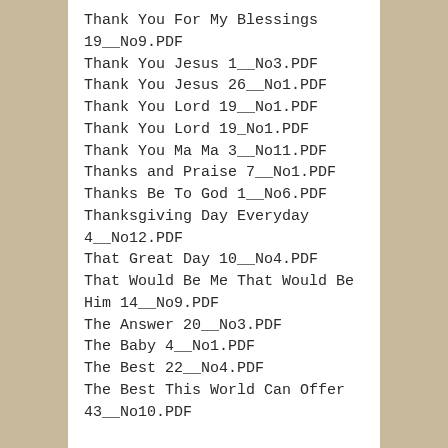Thank You For My Blessings 19__No9.PDF
Thank You Jesus 1__No3.PDF
Thank You Jesus 26__No1.PDF
Thank You Lord 19__No1.PDF
Thank You Lord 19_No1.PDF
Thank You Ma Ma 3__No11.PDF
Thanks and Praise 7__No1.PDF
Thanks Be To God 1__No6.PDF
Thanksgiving Day Everyday 4__No12.PDF
That Great Day 10__No4.PDF
That Would Be Me That Would Be Him 14__No9.PDF
The Answer 20__No3.PDF
The Baby 4__No1.PDF
The Best 22__No4.PDF
The Best This World Can Offer 43__No10.PDF